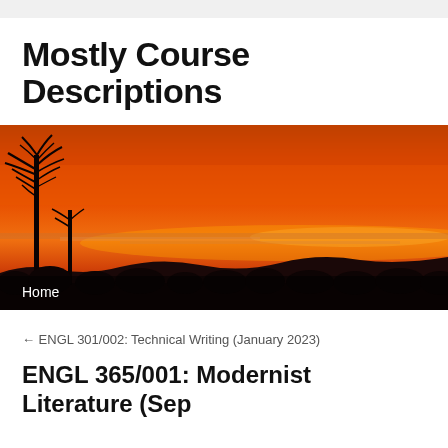Mostly Course Descriptions
[Figure (photo): A sunset landscape photo showing silhouetted trees and hills against a vivid orange-red sky, with a navigation bar at the bottom showing 'Home']
← ENGL 301/002: Technical Writing (January 2023)
ENGL 365/001: Modernist Literature (Sep…